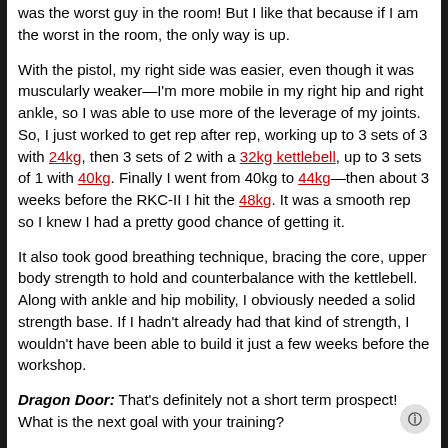was the worst guy in the room! But I like that because if I am the worst in the room, the only way is up.
With the pistol, my right side was easier, even though it was muscularly weaker—I'm more mobile in my right hip and right ankle, so I was able to use more of the leverage of my joints. So, I just worked to get rep after rep, working up to 3 sets of 3 with 24kg, then 3 sets of 2 with a 32kg kettlebell, up to 3 sets of 1 with 40kg. Finally I went from 40kg to 44kg—then about 3 weeks before the RKC-II I hit the 48kg. It was a smooth rep so I knew I had a pretty good chance of getting it.
It also took good breathing technique, bracing the core, upper body strength to hold and counterbalance with the kettlebell. Along with ankle and hip mobility, I obviously needed a solid strength base. If I hadn't already had that kind of strength, I wouldn't have been able to build it just a few weeks before the workshop.
Dragon Door: That's definitely not a short term prospect! What is the next goal with your training?